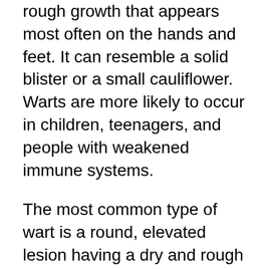rough growth that appears most often on the hands and feet. It can resemble a solid blister or a small cauliflower. Warts are more likely to occur in children, teenagers, and people with weakened immune systems.
The most common type of wart is a round, elevated lesion having a dry and rough surface; flat or threadlike lesions are also seen. The color is flesh-colored, white, pink, tan or brown. Often warts have tiny black dots that look like seeds. This appearance results from clotted blood vessels in the skin.
Warts on the soles of the feet are called plantar warts. These can be painful when standing or walking because of pressure against the sole of